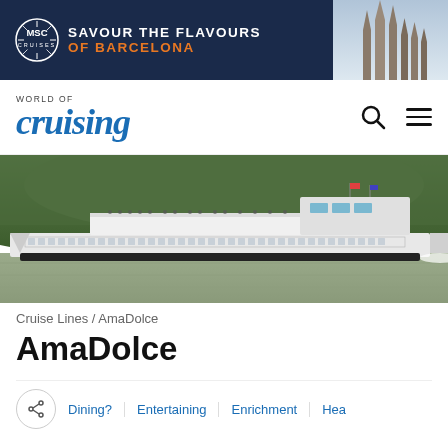[Figure (photo): MSC Cruises advertisement banner: dark navy background with MSC Cruises logo (compass rose circle), white text 'SAVOUR THE FLAVOURS' and orange text 'OF BARCELONA', with a photo of Sagrada Familia on the right]
WORLD OF cruising
[Figure (photo): River cruise ship AmaDolce sailing on a river with green tree-covered hills in the background]
Cruise Lines / AmaDolce
AmaDolce
Dining?  Entertaining  Enrichment  Hea...